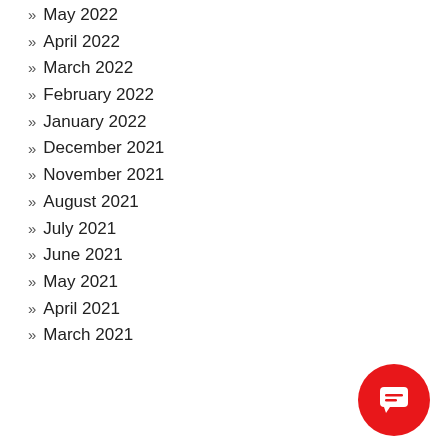May 2022
April 2022
March 2022
February 2022
January 2022
December 2021
November 2021
August 2021
July 2021
June 2021
May 2021
April 2021
March 2021
[Figure (illustration): Red circular chat/message button icon in the bottom right corner]